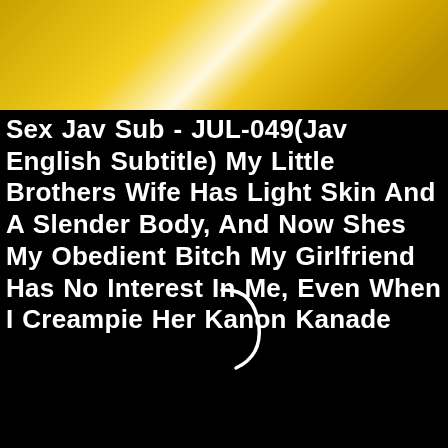[Figure (photo): Top banner image showing people in colorful outfits against a yellow/gold background with money graphics]
Sex Jav Sub - JUL-049(Jav English Subtitle) My Little Brothers Wife Has Light Skin And A Slender Body, And Now Shes My Obedient Bitch My Girlfriend Has No Interest In Me, Even When I Creampie Her Kanon Kanade
[Figure (other): Loading spinner graphic — partial circle arc in white on black background]